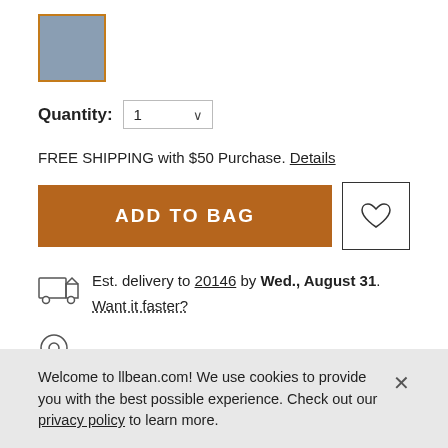[Figure (other): A blue-grey color swatch square with orange border, representing a selected product color option]
Quantity: 1
FREE SHIPPING with $50 Purchase. Details
ADD TO BAG
Est. delivery to 20146 by Wed., August 31. Want it faster?
Reserve at a store: select a location
Welcome to llbean.com! We use cookies to provide you with the best possible experience. Check out our privacy policy to learn more.